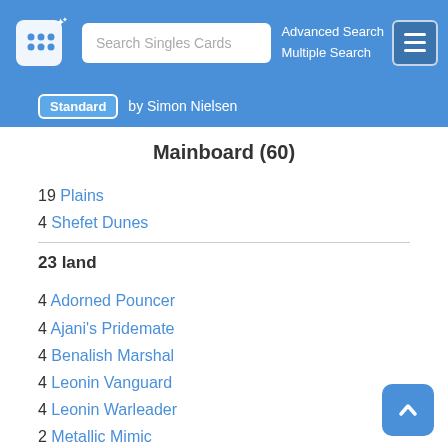Search Singles Cards | Advanced Search | Multiple Search
Standard by Simon Nielsen
Mainboard (60)
19 Plains
4 Shefet Dunes
23 land
4 Adorned Pouncer
4 Ajani's Pridemate
4 Benalish Marshal
4 Leonin Vanguard
4 Leonin Warleader
2 Metallic Mimic
4 Regal Caracal
4 Sacred Cat
30 creature